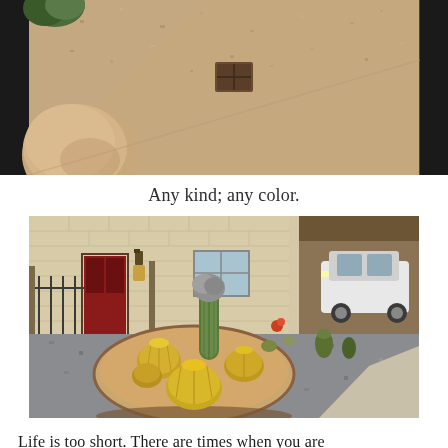[Figure (photo): Top portion of a desert landscaped yard with pink/tan gravel, a large boulder on the left, and a brown metal utility cover in the gravel. Green shrub visible in upper left corner.]
Any kind; any color.
[Figure (photo): Desert xeriscape front yard with gray/blue gravel ground cover, a circular raised planting bed with tan/red soil containing several golden barrel cacti and a tall saguaro cactus with gray crown. A beige/tan brick house is in the background with a red front door, a wall lantern, and a carport with a white SUV.]
Life is too short. There are times when you are